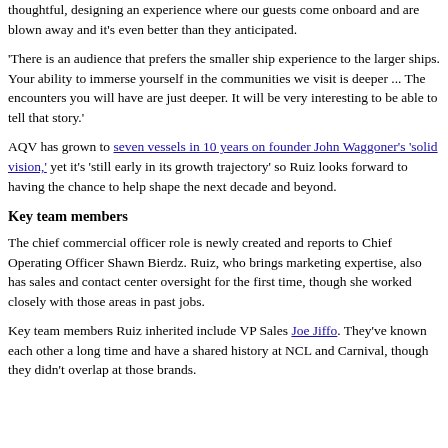thoughtful, designing an experience where our guests come onboard and are blown away and it's even better than they anticipated.
'There is an audience that prefers the smaller ship experience to the larger ships. Your ability to immerse yourself in the communities we visit is deeper ... The encounters you will have are just deeper. It will be very interesting to be able to tell that story.'
AQV has grown to seven vessels in 10 years on founder John Waggoner's 'solid vision,' yet it's 'still early in its growth trajectory' so Ruiz looks forward to having the chance to help shape the next decade and beyond.
Key team members
The chief commercial officer role is newly created and reports to Chief Operating Officer Shawn Bierdz. Ruiz, who brings marketing expertise, also has sales and contact center oversight for the first time, though she worked closely with those areas in past jobs.
Key team members Ruiz inherited include VP Sales Joe Jiffo. They've known each other a long time and have a shared history at NCL and Carnival, though they didn't overlap at those brands.